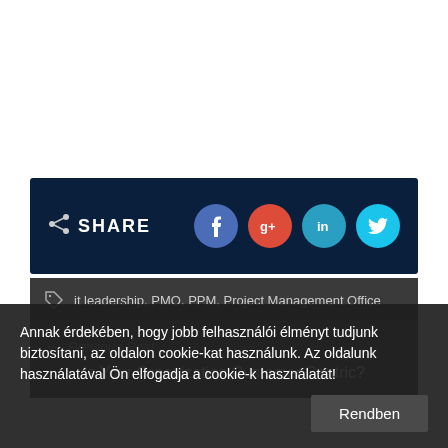[Figure (other): Social share bar with navy background showing SHARE label and Facebook, Google+, LinkedIn, Twitter icons]
it leadership, PMO, PPM, Project Management Office
← Previous Post
Is Your Organization Customer Centric?
Annak érdekében, hogy jobb felhasználói élményt tudjunk biztosítani, az oldalon cookie-kat használunk. Az oldalunk használatával Ön elfogadja a cookie-k használatát!